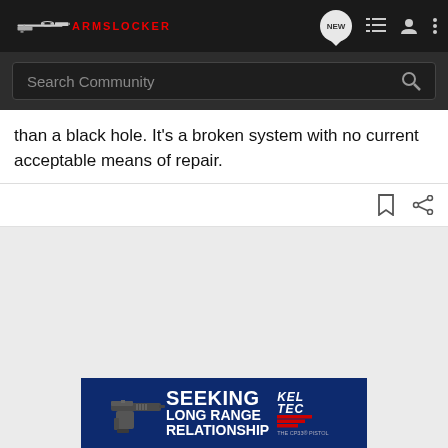ArmsLocker community navigation bar with logo, NEW bubble, list icon, user icon, more icon
Search Community
than a black hole. It's a broken system with no current acceptable means of repair.
[Figure (screenshot): Bookmark and share action icons]
[Figure (photo): Kel-Tec CP33 pistol advertisement banner: SEEKING LONG RANGE RELATIONSHIP, THE CP33 PISTOL]